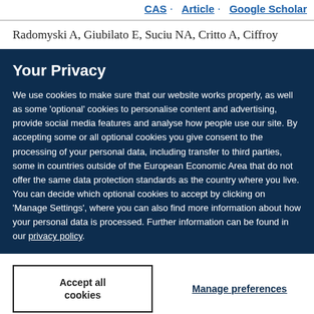CAS · Article · Google Scholar
Radomyski A, Giubilato E, Suciu NA, Critto A, Ciffroy
Your Privacy
We use cookies to make sure that our website works properly, as well as some 'optional' cookies to personalise content and advertising, provide social media features and analyse how people use our site. By accepting some or all optional cookies you give consent to the processing of your personal data, including transfer to third parties, some in countries outside of the European Economic Area that do not offer the same data protection standards as the country where you live. You can decide which optional cookies to accept by clicking on 'Manage Settings', where you can also find more information about how your personal data is processed. Further information can be found in our privacy policy.
Accept all cookies
Manage preferences